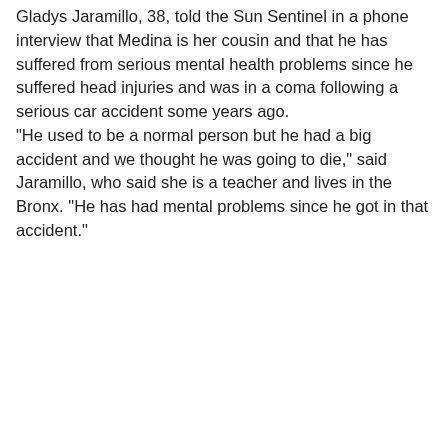Gladys Jaramillo, 38, told the Sun Sentinel in a phone interview that Medina is her cousin and that he has suffered from serious mental health problems since he suffered head injuries and was in a coma following a serious car accident some years ago.
"He used to be a normal person but he had a big accident and we thought he was going to die," said Jaramillo, who said she is a teacher and lives in the Bronx. "He has had mental problems since he got in that accident."
David Oscar Markus at 3:55 PM    3 comments:
Share
Wednesday, May 04, 2016
May the 4th be with you! (UPDATED)
[Figure (photo): Dark scene image, partially visible at bottom of page]